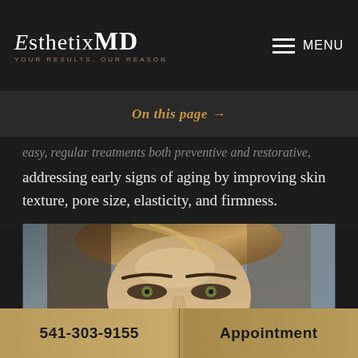[Figure (logo): EsthetixMD logo with tagline 'YOUR RESULTS, OUR REASON' and MENU button on the right]
On this page →
easy, regular treatments both preventive and restorative, addressing early signs of aging by improving skin texture, pore size, elasticity, and firmness.
[Figure (photo): Close-up photo of a woman's face with highlighted hair, smoky eye makeup, showing skin texture and features relevant to aesthetic medicine]
541-303-9155 | Appointment